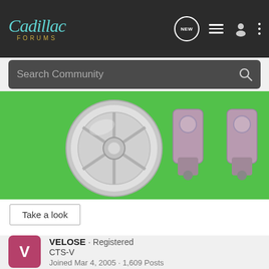Cadillac Forums
Search Community
[Figure (photo): Advertisement image showing a chrome wheel/turbo on green background with metallic bolt-like parts on the right]
Take a look
VELOSE · Registered
CTS-V
Joined Mar 4, 2005 · 1,609 Posts
#11 · Oct 12, 2005
Oh Hot Damn! They carry Asanti wheels. I want to see the di...